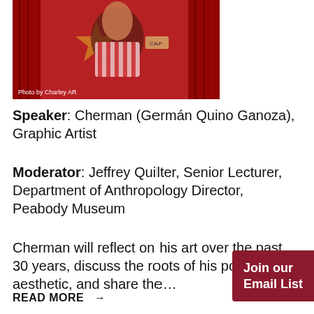[Figure (photo): Photo of Cherman (Germán Quino Ganoza) dressed in colorful costume with red and striped garments and a gold star. Caption reads: Photo by Charley AR]
Speaker: Cherman (Germán Quino Ganoza), Graphic Artist
Moderator: Jeffrey Quilter, Senior Lecturer, Department of Anthropology Director, Peabody Museum
Cherman will reflect on his art over the past 30 years, discuss the roots of his pop aesthetic, and share the...
READ MORE →
Join our Email List